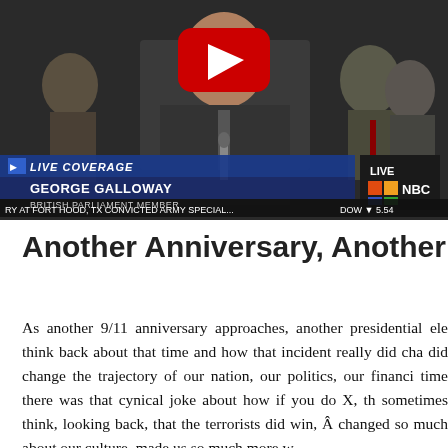[Figure (screenshot): Video thumbnail showing George Galloway at a live MSNBC broadcast, identified as British Parliament Member. Lower thirds show 'LIVE COVERAGE', 'GEORGE GALLOWAY', 'BRITISH PARLIAMENT MEMBER', and ticker text 'RY AT FORT HOOD, TX CONVICTED ARMY SPECIAL... DOW 5.54'. A red YouTube play button overlay is visible.]
Another Anniversary, Another Elec
As another 9/11 anniversary approaches, another presidential ele think back about that time and how that incident really did cha did change the trajectory of our nation, our politics, our financi time there was that cynical joke about how if you do X, th sometimes think, looking back, that the terrorists did win, Â changed so much about our culture, made us so much more w